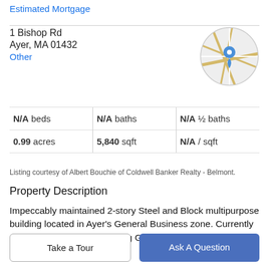Estimated Mortgage
1 Bishop Rd
Ayer, MA 01432
Other
[Figure (map): Circular map thumbnail showing location with a blue map pin marker, road lines visible on light grey background]
| N/A beds | N/A baths | N/A ½ baths |
| 0.99 acres | 5,840 sqft | N/A / sqft |
Listing courtesy of Albert Bouchie of Coldwell Banker Realty - Belmont.
Property Description
Impeccably maintained 2-story Steel and Block multipurpose building located in Ayer's General Business zone. Currently occupied by an Auto Detailing Group, the
Take a Tour
Ask A Question